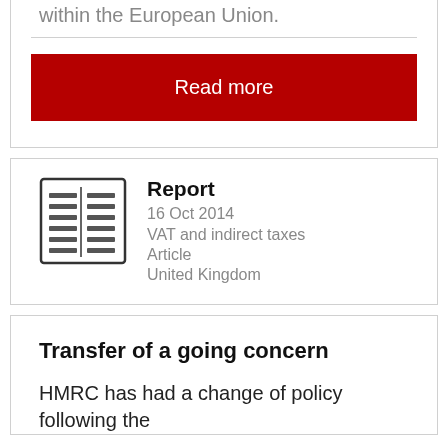within the European Union.
Read more
Report
16 Oct 2014
VAT and indirect taxes
Article
United Kingdom
Transfer of a going concern
HMRC has had a change of policy following the